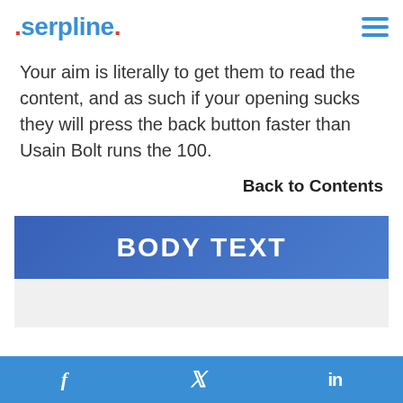serpline.
Your aim is literally to get them to read the content, and as such if your opening sucks they will press the back button faster than Usain Bolt runs the 100.
Back to Contents
BODY TEXT
[Figure (screenshot): Light gray area partially visible below BODY TEXT banner]
f  [twitter bird]  in